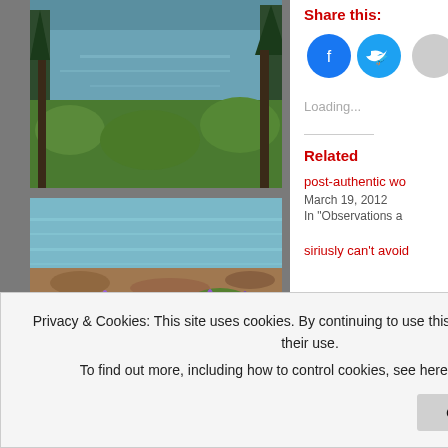[Figure (photo): Photo of a lake with evergreen trees and green foliage]
[Figure (photo): Photo of a lakeside shore with purple wildflowers and green plants]
[Figure (photo): Photo looking up at tall evergreen trees against a bright sky]
Share this:
Loading...
Related
post-authentic wo
March 19, 2012
In "Observations a
siriusly can't avoid
Privacy & Cookies: This site uses cookies. By continuing to use this website, you agree to their use.
To find out more, including how to control cookies, see here: Cookie Policy
Close and accept